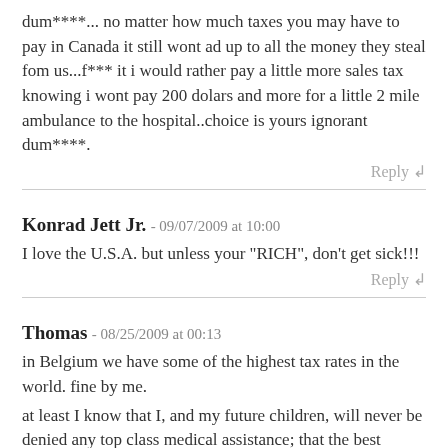dum****... no matter how much taxes you may have to pay in Canada it still wont ad up to all the money they steal fom us...f*** it i would rather pay a little more sales tax knowing i wont pay 200 dolars and more for a little 2 mile ambulance to the hospital..choice is yours ignorant dum****.
Reply
Konrad Jett Jr. - 09/07/2009 at 10:00
I love the U.S.A. but unless your "RICH", don't get sick!!!
Reply
Thomas - 08/25/2009 at 00:13
in Belgium we have some of the highest tax rates in the world. fine by me.
at least I know that I, and my future children, will never be denied any top class medical assistance; that the best